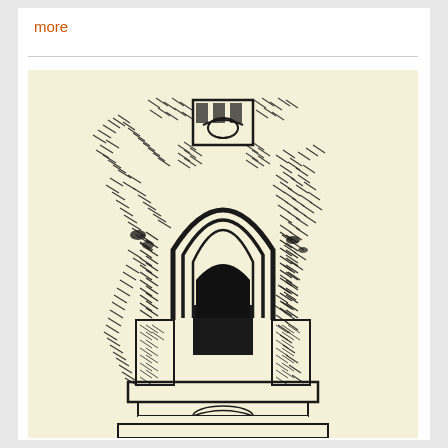more
[Figure (illustration): Black ink drawing on cream/beige background depicting a Gothic architectural element — a pointed arch window or doorway with elaborate stonework, surrounded by overgrown vegetation/ivy. The structure appears to be a ruined Gothic church window or niche with multiple arched layers, decorative tracery, and a base/pedestal. The style is a detailed pen-and-ink architectural illustration.]